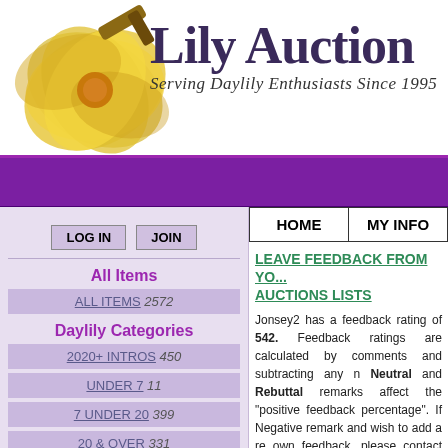[Figure (logo): Lily Auction logo with yellow hibiscus flower and gavel, text reads 'Lily Auction' and 'Serving Daylily Enthusiasts Since 1995']
LOG IN   JOIN
All Items
ALL ITEMS 2572
Daylily Categories
2020+ INTROS 450
UNDER 7 11
7 UNDER 20 399
20 & OVER 331
HOME
MY INFO
LEAVE FEEDBACK FROM YOUR AUCTIONS LISTS
Jonsey2 has a feedback rating of 542. Feedback ratings are calculated by comments and subtracting any n Neutral and Rebuttal remarks affect the "positive feedback percentage". If Negative remark and wish to add a re own feedback, please contact the provide your username, and your com only). See the summary to the right f comments including neutrals. Sc comments left by others for Jonsey2.